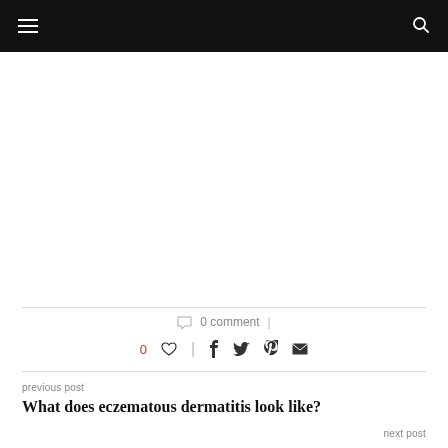0 comment
0 ♡  |  f  t  p  ✉
previous post
What does eczematous dermatitis look like?
next post